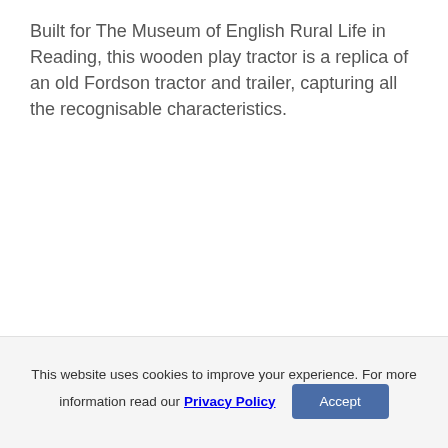Built for The Museum of English Rural Life in Reading, this wooden play tractor is a replica of an old Fordson tractor and trailer, capturing all the recognisable characteristics.
This website uses cookies to improve your experience. For more information read our Privacy Policy  Accept